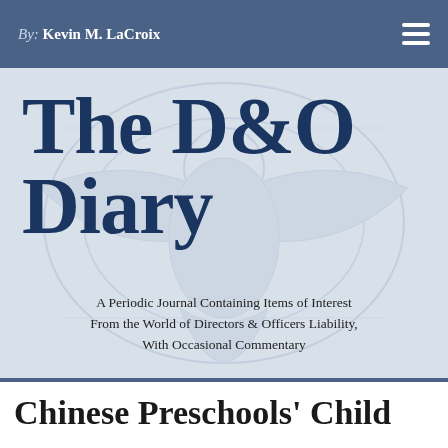By: Kevin M. LaCroix
The D&O Diary
A Periodic Journal Containing Items of Interest From the World of Directors & Officers Liability, With Occasional Commentary
Chinese Preschools' Child